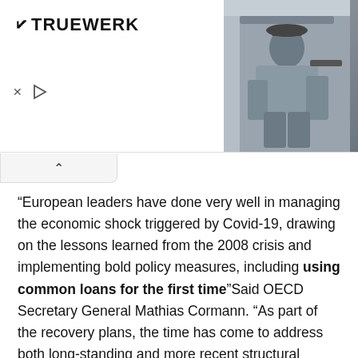[Figure (photo): Advertisement banner with TRUEWERK logo on the left and a photo of a person crouching on the right. Contains close/play controls at bottom left.]
“European leaders have done very well in managing the economic shock triggered by Covid-19, drawing on the lessons learned from the 2008 crisis and implementing bold policy measures, including using common loans for the first time”Said OECD Secretary General Mathias Cormann. “As part of the recovery plans, the time has come to address both long-standing and more recent structural challenges, but addressing them in a way that puts the EU and the euro area on firmer foundations and trajectories for the future” , he added.
In the chapter that deals with the problems of the budgetary governance of the Old Continent, the OECD observes that